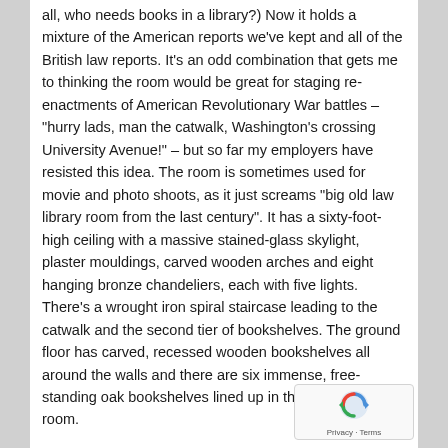all, who needs books in a library?) Now it holds a mixture of the American reports we've kept and all of the British law reports. It's an odd combination that gets me to thinking the room would be great for staging re-enactments of American Revolutionary War battles – "hurry lads, man the catwalk, Washington's crossing University Avenue!" – but so far my employers have resisted this idea. The room is sometimes used for movie and photo shoots, as it just screams "big old law library room from the last century". It has a sixty-foot-high ceiling with a massive stained-glass skylight, plaster mouldings, carved wooden arches and eight hanging bronze chandeliers, each with five lights. There's a wrought iron spiral staircase leading to the catwalk and the second tier of bookshelves. The ground floor has carved, recessed wooden bookshelves all around the walls and there are six immense, free-standing oak bookshelves lined up in the middle of the room.

In short, it's magnificent. But recently there have been alarming signs of trouble in the room. We noticed that some of the wall bookshelves were starting to buckle and